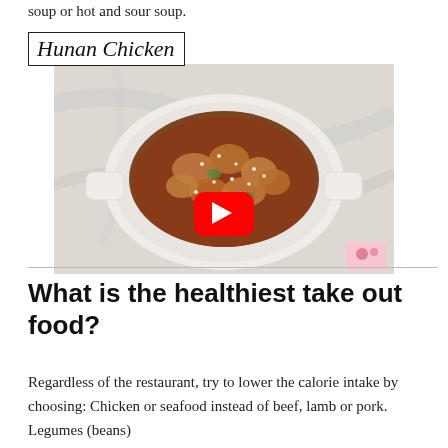soup or hot and sour soup.
[Figure (photo): A video thumbnail showing Hunan Chicken dish in a white ceramic bowl with sesame seeds and vegetables in a dark sauce, with a YouTube play button overlay. Label reading 'Hunan Chicken' in cursive script inside a rectangular border appears at top-left.]
What is the healthiest take out food?
Regardless of the restaurant, try to lower the calorie intake by choosing: Chicken or seafood instead of beef, lamb or pork. Legumes (beans)